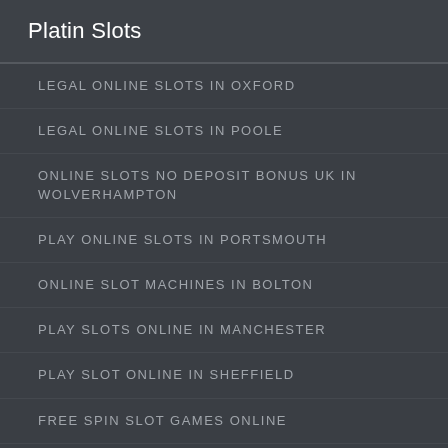Platin Slots
LEGAL ONLINE SLOTS IN OXFORD
LEGAL ONLINE SLOTS IN POOLE
ONLINE SLOTS NO DEPOSIT BONUS UK IN WOLVERHAMPTON
PLAY ONLINE SLOTS IN PORTSMOUTH
ONLINE SLOT MACHINES IN BOLTON
PLAY SLOTS ONLINE IN MANCHESTER
PLAY SLOT ONLINE IN SHEFFIELD
FREE SPIN SLOT GAMES ONLINE
FREE ONLINE SLOTS WITH BONUS ROUNDS NO DOWNLOADS GAMES